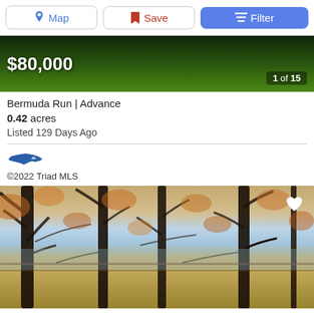Map | Save | Filter
[Figure (photo): Hero banner of green grass/field, showing price $80,000 and counter 1 of 15]
Bermuda Run | Advance
0.42 acres
Listed 129 Days Ago
[Figure (logo): North Carolina state outline logo in blue]
©2022 Triad MLS
[Figure (photo): Autumn scene with bare trees and water/lake visible in background, with heart favorite icon in top right]